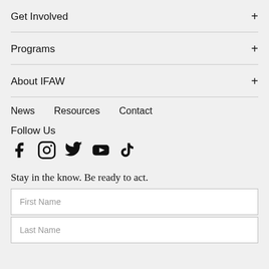Get Involved +
Programs +
About IFAW +
News   Resources   Contact
Follow Us
[Figure (infographic): Social media icons: Facebook, Instagram, Twitter, YouTube, TikTok]
Stay in the know. Be ready to act.
First Name
Last Name